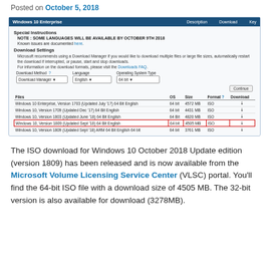Posted on October 5, 2018
[Figure (screenshot): Screenshot of Microsoft Volume Licensing Service Center showing Windows 10 Enterprise download page with file listings including Version 1809 (Updated Sept '18) 64 Bit English, 4505 MB, ISO highlighted with red border]
The ISO download for Windows 10 October 2018 Update edition (version 1809) has been released and is now available from the Microsoft Volume Licensing Service Center (VLSC) portal. You'll find the 64-bit ISO file with a download size of 4505 MB. The 32-bit version is also available for download (3278MB).